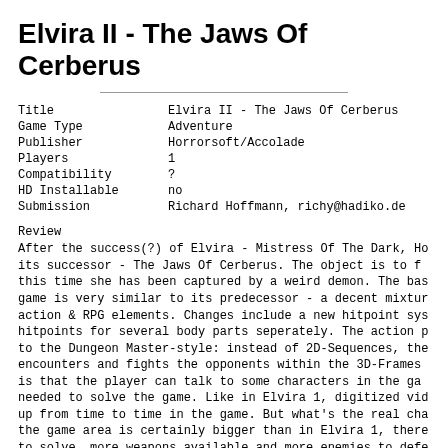Elvira II - The Jaws Of Cerberus
| Title | Elvira II - The Jaws Of Cerberus |
| Game Type | Adventure |
| Publisher | Horrorsoft/Accolade |
| Players | 1 |
| Compatibility | ? |
| HD Installable | no |
| Submission | Richard Hoffmann, richy@hadiko.de |
Review
After the success(?) of Elvira - Mistress Of The Dark, Ho its successor - The Jaws Of Cerberus. The object is to f this time she has been captured by a weird demon. The bas game is very similar to its predecessor - a decent mixture action & RPG elements. Changes include a new hitpoint sys hitpoints for several body parts seperately. The action p to the Dungeon Master-style: instead of 2D-Sequences, the encounters and fights the opponents within the 3D-Frames is that the player can talk to some characters in the ga needed to solve the game. Like in Elvira 1, digitized vid up from time to time in the game. But what's the real ch the game area is certainly bigger than in Elvira 1, there to solve, more weapons available and more enemies to defe